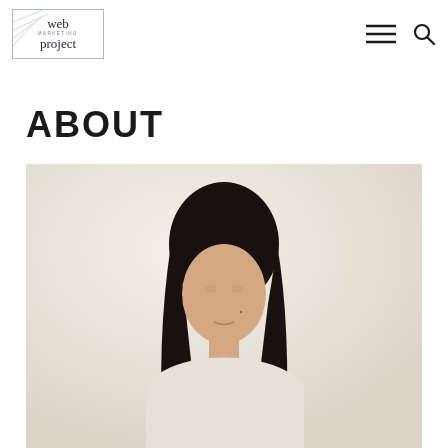[Figure (logo): Web Marketing Project logo in a rectangular border with script and serif text]
ABOUT
[Figure (photo): Portrait photo of a woman with long dark hair against a light beige/cream background]